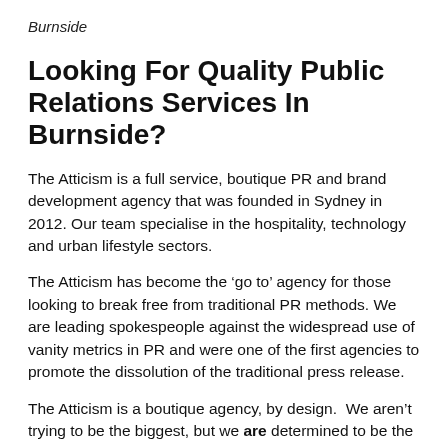Burnside
Looking For Quality Public Relations Services In Burnside?
The Atticism is a full service, boutique PR and brand development agency that was founded in Sydney in 2012. Our team specialise in the hospitality, technology and urban lifestyle sectors.
The Atticism has become the ‘go to’ agency for those looking to break free from traditional PR methods. We are leading spokespeople against the widespread use of vanity metrics in PR and were one of the first agencies to promote the dissolution of the traditional press release.
The Atticism is a boutique agency, by design.  We aren’t trying to be the biggest, but we are determined to be the best.  We are comprised of a tight-knit team